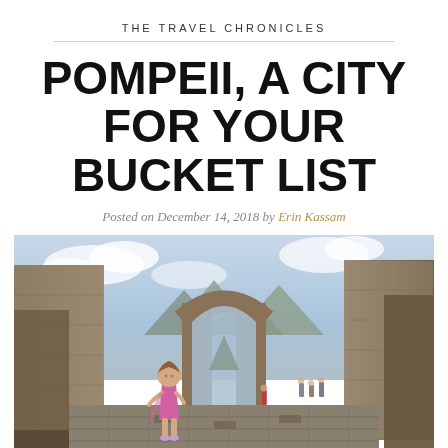THE TRAVEL CHRONICLES
POMPEII, A CITY FOR YOUR BUCKET LIST
Posted on December 14, 2018 by Erin Kassam
[Figure (photo): A young girl in a pink dress smiling and posing in the ancient ruins of Pompeii, with a large stone arch gateway visible behind her and mountains in the background under a partly cloudy sky.]